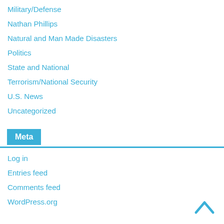Military/Defense
Nathan Phillips
Natural and Man Made Disasters
Politics
State and National
Terrorism/National Security
U.S. News
Uncategorized
Meta
Log in
Entries feed
Comments feed
WordPress.org